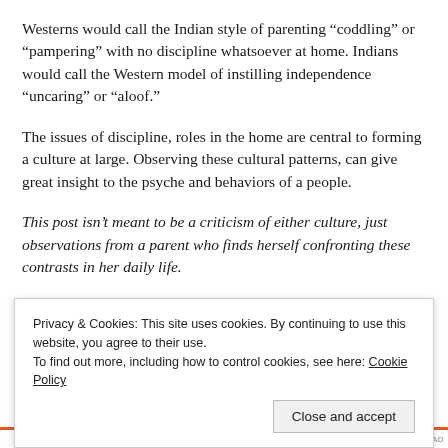Westerns would call the Indian style of parenting “coddling” or “pampering” with no discipline whatsoever at home. Indians would call the Western model of instilling independence “uncaring” or “aloof.”
The issues of discipline, roles in the home are central to forming a culture at large. Observing these cultural patterns, can give great insight to the psyche and behaviors of a people.
This post isn’t meant to be a criticism of either culture, just observations from a parent who finds herself confronting these contrasts in her daily life.
Privacy & Cookies: This site uses cookies. By continuing to use this website, you agree to their use.
To find out more, including how to control cookies, see here: Cookie Policy
Close and accept